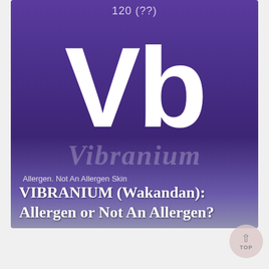[Figure (illustration): Fictional periodic table element tile for Vibranium (Vb), element number 120 (??) on a purple gradient background. The large chemical symbol 'Vb' is displayed in white bold text. A watermark reading 'Vibranium' appears in italic text. A category label reads 'Allergen. Not An Allergen Skin' and the title 'VIBRANIUM (Wakandan): Allergen or Not An Allergen?' is overlaid at the bottom.]
VIBRANIUM (Wakandan): Allergen or Not An Allergen?